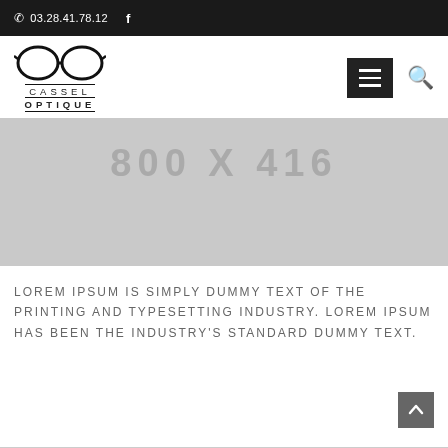03.28.41.78.12  f
[Figure (logo): Cassel Optique logo with eyeglasses icon and text CASSEL OPTIQUE]
[Figure (other): Placeholder image 800 x 416]
LOREM IPSUM IS SIMPLY DUMMY TEXT OF THE PRINTING AND TYPESETTING INDUSTRY. LOREM IPSUM HAS BEEN THE INDUSTRY'S STANDARD DUMMY TEXT.